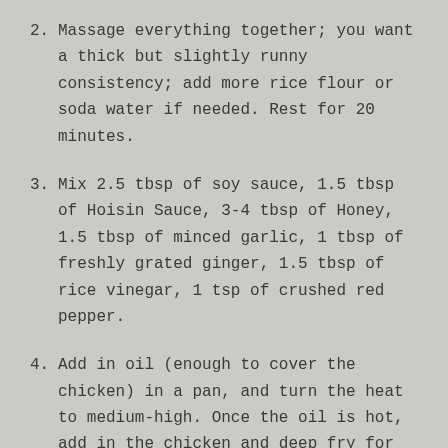2. Massage everything together; you want a thick but slightly runny consistency; add more rice flour or soda water if needed. Rest for 20 minutes.
3. Mix 2.5 tbsp of soy sauce, 1.5 tbsp of Hoisin Sauce, 3-4 tbsp of Honey, 1.5 tbsp of minced garlic, 1 tbsp of freshly grated ginger, 1.5 tbsp of rice vinegar, 1 tsp of crushed red pepper.
4. Add in oil (enough to cover the chicken) in a pan, and turn the heat to medium-high. Once the oil is hot, add in the chicken and deep fry for 6-7